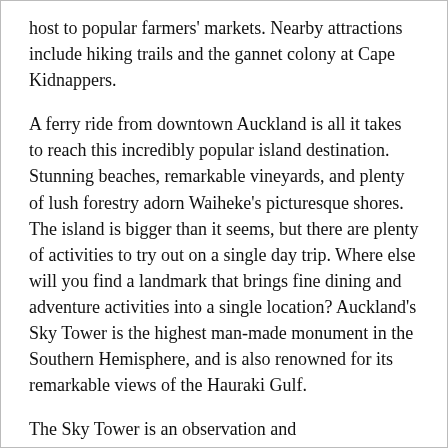host to popular farmers' markets. Nearby attractions include hiking trails and the gannet colony at Cape Kidnappers.
A ferry ride from downtown Auckland is all it takes to reach this incredibly popular island destination. Stunning beaches, remarkable vineyards, and plenty of lush forestry adorn Waiheke's picturesque shores. The island is bigger than it seems, but there are plenty of activities to try out on a single day trip. Where else will you find a landmark that brings fine dining and adventure activities into a single location? Auckland's Sky Tower is the highest man-made monument in the Southern Hemisphere, and is also renowned for its remarkable views of the Hauraki Gulf.
The Sky Tower is an observation and telecommunications tower located in New Zealand's largest city. At a height of 328 meters (1,076 ft) it is the tallest free-standing structure in the Southern Hemisphere and the Sky Tower has become an iconic structure in Auckland's skyline. The tower offers views of up to 80 km away and fine dining in the Orbit